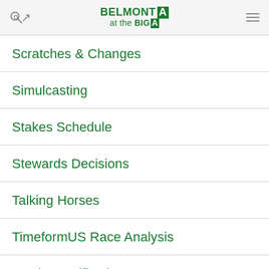BELMONT at the BIG A
Scratches & Changes
Simulcasting
Stakes Schedule
Stewards Decisions
Talking Horses
TimeformUS Race Analysis
Track Specifications
Track Trends